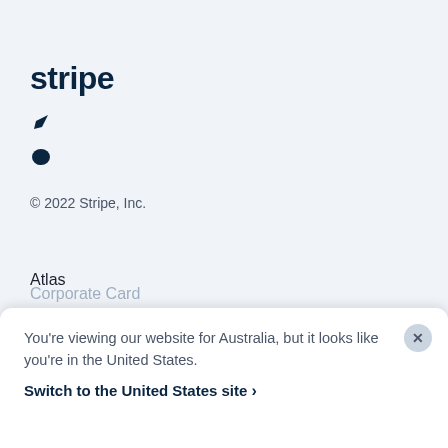stripe
↗
💬
© 2022 Stripe, Inc.
Atlas
Billing
Capital
You're viewing our website for Australia, but it looks like you're in the United States.
Switch to the United States site ›
Corporate Card